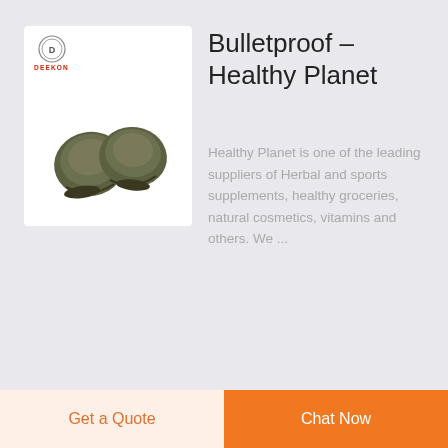[Figure (photo): Product image showing two dark olive-green bulletproof knee pad shells on a white background, with Deekon brand logo in top-left corner (circular emblem and red DEEKON text)]
Bulletproof – Healthy Planet
Healthy Planet is one of the leading suppliers of Herbal and sports supplements, healthy groceries, natural cosmetics, vitamins and others. We ...